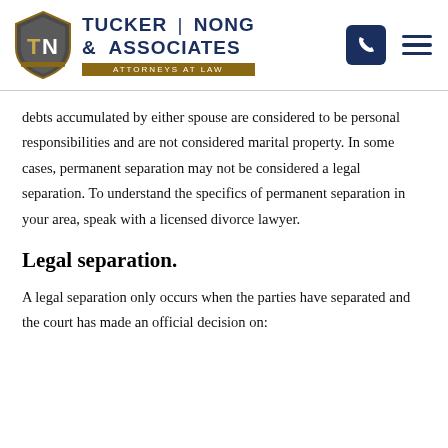[Figure (logo): Tucker | Nong & Associates Attorneys at Law logo with shield emblem]
debts accumulated by either spouse are considered to be personal responsibilities and are not considered marital property. In some cases, permanent separation may not be considered a legal separation. To understand the specifics of permanent separation in your area, speak with a licensed divorce lawyer.
Legal separation.
A legal separation only occurs when the parties have separated and the court has made an official decision on: